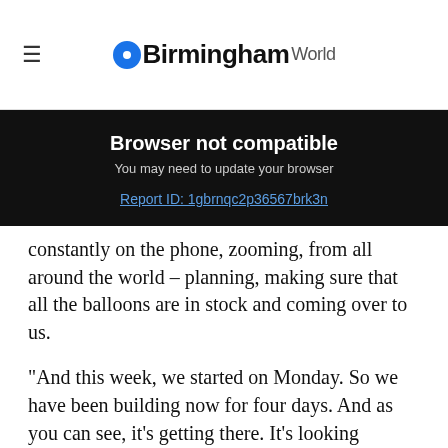BirminghamWorld
Browser not compatible
You may need to update your browser
Report ID: 1gbrnqc2p36567brk3n
constantly on the phone, zooming, from all around the world – planning, making sure that all the balloons are in stock and coming over to us.
“And this week, we started on Monday. So we have been building now for four days. And as you can see, it’s getting there. It’s looking amazing.”